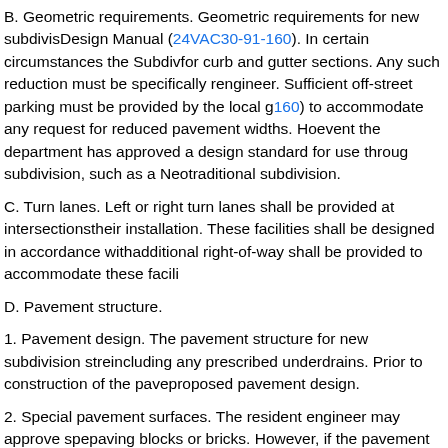B. Geometric requirements. Geometric requirements for new subdivisions are set out in the Subdivision Street Design Manual (24VAC30-91-160). In certain circumstances the Subdivision Street Design Manual allows for curb and gutter sections. Any such reduction must be specifically recommended by the resident engineer. Sufficient off-street parking must be provided by the local governing body (24VAC30-91-160) to accommodate any request for reduced pavement widths. However, a variance is not required in the event the department has approved a design standard for use throughout a specific type of subdivision, such as a Neotraditional subdivision.
C. Turn lanes. Left or right turn lanes shall be provided at intersections when warrants exist for their installation. These facilities shall be designed in accordance with departmental standards, and additional right-of-way shall be provided to accommodate these facilities.
D. Pavement structure.
1. Pavement design. The pavement structure for new subdivision streets shall be designed, including any prescribed underdrains. Prior to construction of the pavement, the developer shall submit proposed pavement design.
2. Special pavement surfaces. The resident engineer may approve special pavement surfaces such as paving blocks or bricks. However, if the pavement design is a type not currently approved and in general use by the department, an agreement shall be provided by